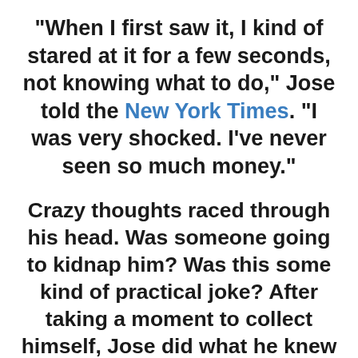“When I first saw it, I kind of stared at it for a few seconds, not knowing what to do,” Jose told the New York Times. “I was very shocked. I’ve never seen so much money.”
Crazy thoughts raced through his head. Was someone going to kidnap him? Was this some kind of practical joke? After taking a moment to collect himself, Jose did what he knew was the right thing: he called the police. They soon discovered that the money had accidentally been left behind by a worker tasked